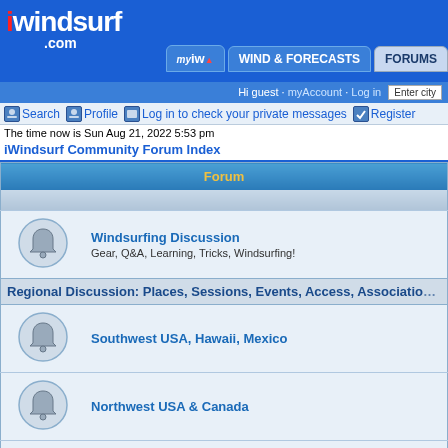[Figure (screenshot): iWindsurf.com website header with logo, navigation tabs (myiw, WIND & FORECASTS, FORUMS), and blue background]
Hi guest · myAccount · Log in  Enter city
Search  Profile  Log in to check your private messages  Register
The time now is Sun Aug 21, 2022 5:53 pm
iWindsurf Community Forum Index
| Forum |
| --- |
| Windsurfing Discussion
Gear, Q&A, Learning, Tricks, Windsurfing! |
| Regional Discussion: Places, Sessions, Events, Access, Associations |
| Southwest USA, Hawaii, Mexico |
| Northwest USA & Canada |
| Eastern and Central USA & Canada |
| Europe, Caribbean & S. America, Australia & NZ, Africa, Asia |